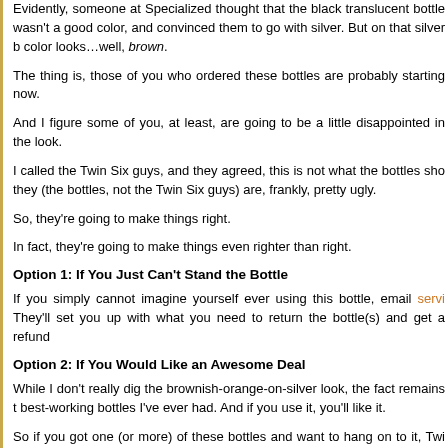Evidently, someone at Specialized thought that the black translucent bottle wasn't a good color, and convinced them to go with silver. But on that silver b color looks…well, brown.
The thing is, those of you who ordered these bottles are probably starting now.
And I figure some of you, at least, are going to be a little disappointed in the look.
I called the Twin Six guys, and they agreed, this is not what the bottles sho they (the bottles, not the Twin Six guys) are, frankly, pretty ugly.
So, they're going to make things right.
In fact, they're going to make things even righter than right.
Option 1: If You Just Can't Stand the Bottle
If you simply cannot imagine yourself ever using this bottle, email servi They'll set you up with what you need to return the bottle(s) and get a refund
Option 2: If You Would Like an Awesome Deal
While I don't really dig the brownish-orange-on-silver look, the fact remains t best-working bottles I've ever had. And if you use it, you'll like it.
So if you got one (or more) of these bottles and want to hang on to it, Twi give you a 30%-off code toward any full-price purchase. Which means if you that pretty much means you got the bottle for free. And if you buy a couple c more than made your money back in savings.